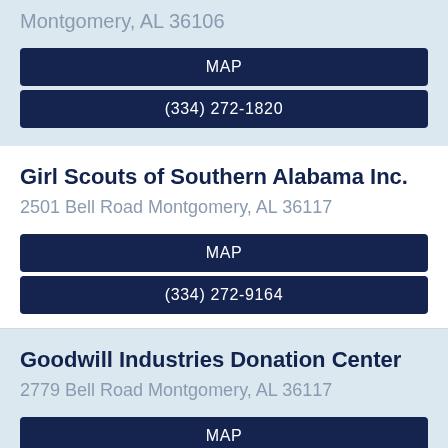Montgomery, AL 36106
MAP
(334) 272-1820
Girl Scouts of Southern Alabama Inc.
2501 Bell Road Montgomery, AL 36117
MAP
(334) 272-9164
Goodwill Industries Donation Center
2779 Bell Road Montgomery, AL 36117
MAP